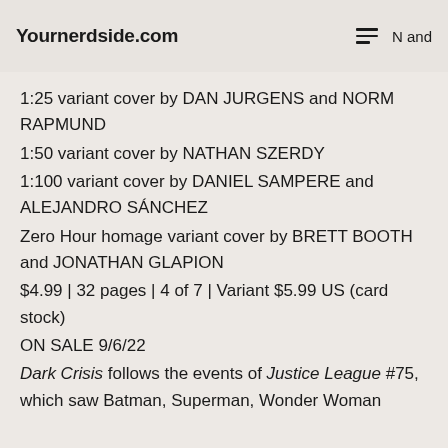Yournerdside.com   ≡  N and
1:25 variant cover by DAN JURGENS and NORM RAPMUND
1:50 variant cover by NATHAN SZERDY
1:100 variant cover by DANIEL SAMPERE and ALEJANDRO SÁNCHEZ
Zero Hour homage variant cover by BRETT BOOTH and JONATHAN GLAPION
$4.99 | 32 pages | 4 of 7 | Variant $5.99 US (card stock)
ON SALE 9/6/22
Dark Crisis follows the events of Justice League #75, which saw Batman, Superman, Wonder Woman